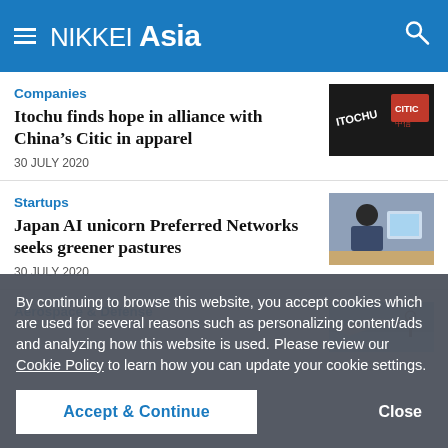NIKKEI Asia
Companies
Itochu finds hope in alliance with China’s Citic in apparel
30 JULY 2020
[Figure (photo): ITOCHU and CITIC logos on signage]
Startups
Japan AI unicorn Preferred Networks seeks greener pastures
30 JULY 2020
[Figure (photo): Child wearing mask looking at a tablet/computer]
Aerospace & Defense
[Figure (photo): Aerospace image, possibly aircraft or airport]
By continuing to browse this website, you accept cookies which are used for several reasons such as personalizing content/ads and analyzing how this website is used. Please review our Cookie Policy to learn how you can update your cookie settings.
Accept & Continue
Close